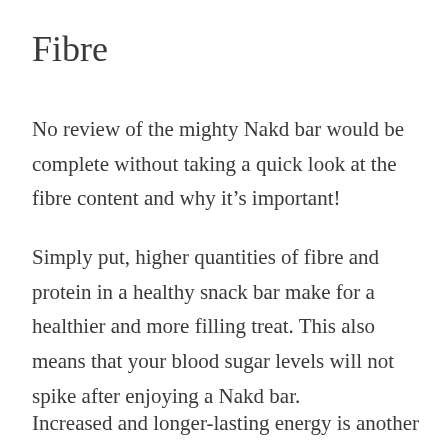Fibre
No review of the mighty Nakd bar would be complete without taking a quick look at the fibre content and why it’s important!
Simply put, higher quantities of fibre and protein in a healthy snack bar make for a healthier and more filling treat. This also means that your blood sugar levels will not spike after enjoying a Nakd bar.
Increased and longer-lasting energy is another